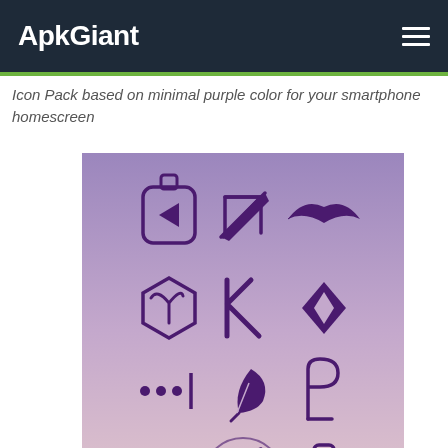ApkGiant
Icon Pack based on minimal purple color for your smartphone homescreen
[Figure (screenshot): A screenshot of a purple/gradient background icon pack showing 12 app icons arranged in a 3x4 grid: IGTV, arrow, Aviate logo, hexagon/robinhood, Kickstarter, Kodi, Overflow, Quill/feather, Purify, Malwarebytes, music note, and a glove/mittens icon. The background is a soft purple-pink gradient with the bottom of a Ferris wheel visible.]